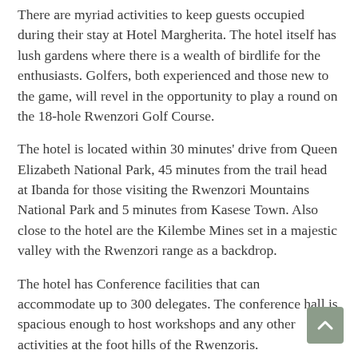There are myriad activities to keep guests occupied during their stay at Hotel Margherita. The hotel itself has lush gardens where there is a wealth of birdlife for the enthusiasts. Golfers, both experienced and those new to the game, will revel in the opportunity to play a round on the 18-hole Rwenzori Golf Course.
The hotel is located within 30 minutes' drive from Queen Elizabeth National Park, 45 minutes from the trail head at Ibanda for those visiting the Rwenzori Mountains National Park and 5 minutes from Kasese Town. Also close to the hotel are the Kilembe Mines set in a majestic valley with the Rwenzori range as a backdrop.
The hotel has Conference facilities that can accommodate up to 300 delegates. The conference hall is spacious enough to host workshops and any other activities at the foot hills of the Rwenzoris.
Families are invited to enjoy each other's company outdoors where children can play in their own children's garden and...